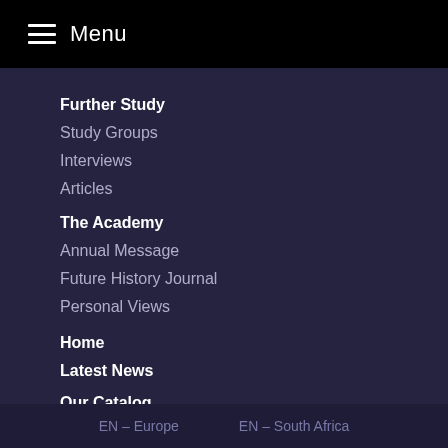Menu
Further Study
Study Groups
Interviews
Articles
The Academy
Annual Message
Future History Journal
Personal Views
Home
Latest News
Our Catalog
Donate
EN – Europe    EN – South Africa